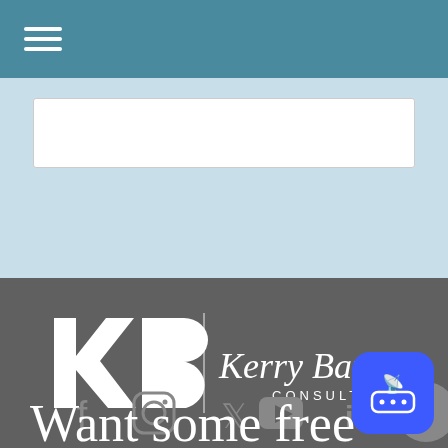[Figure (screenshot): Website header navigation bar with teal/blue background and white hamburger menu icon]
[Figure (screenshot): Light blue search/input area with white search box]
[Figure (logo): Kerry Barrett Consulting logo — stylized KB monogram and script signature text with CONSULTING underneath, white on dark gray background]
[Figure (infographic): Social media icons row: Facebook, Instagram, Twitter, YouTube, LinkedIn — gray icons on dark gray background]
Want some free
[Figure (screenshot): Blue chat widget button with broadcast/radio wave icon and ellipsis, overlapping gray circle]